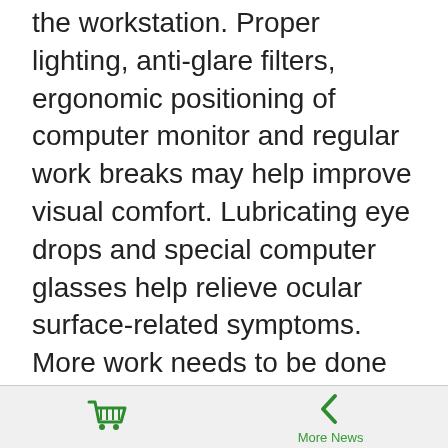the workstation. Proper lighting, anti-glare filters, ergonomic positioning of computer monitor and regular work breaks may help improve visual comfort. Lubricating eye drops and special computer glasses help relieve ocular surface-related symptoms. More work needs to be done to specifically define the processes that cause computer vision syndrome and to develop and improve effective treatments that successfully address these causes.
Study Information
Surv Ophthalmol. 2005 May-Jun;50(3):253-62. doi: 10.1016/j.survophthal.2005.02.008. PMID: 15850814.
Shopping cart icon | More News back arrow